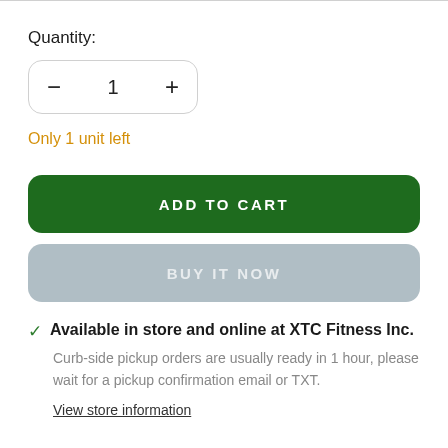Quantity:
— 1 +
Only 1 unit left
ADD TO CART
BUY IT NOW
Available in store and online at XTC Fitness Inc.
Curb-side pickup orders are usually ready in 1 hour, please wait for a pickup confirmation email or TXT.
View store information